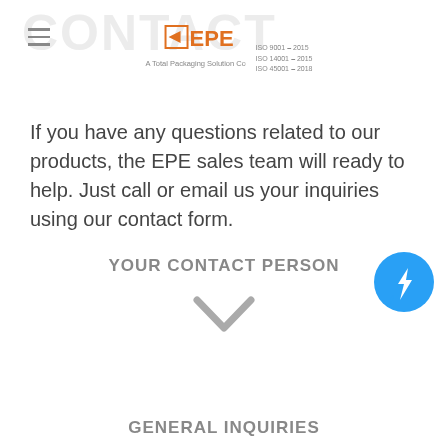EPE – A Total Packaging Solution Company | ISO 9001-2015, ISO 14001-2015, ISO 45001-2018
CONTACT
If you have any questions related to our products, the EPE sales team will ready to help. Just call or email us your inquiries using our contact form.
[Figure (illustration): Facebook Messenger chat bubble icon, blue with white lightning bolt]
YOUR CONTACT PERSON
[Figure (illustration): Downward chevron arrow in grey]
GENERAL INQUIRIES